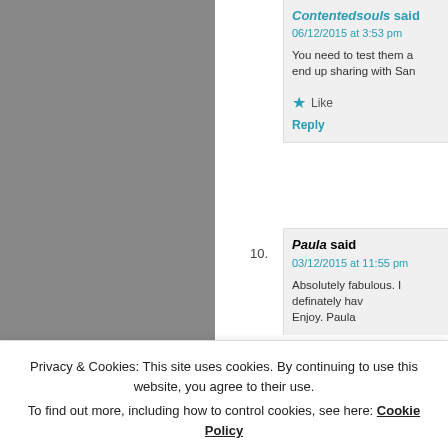Contentedsouls said
06/12/2015 at 3:53 pm
You need to test them a end up sharing with San
Like
Reply
10. Paula said
03/12/2015 at 11:55 pm
Absolutely fabulous. I definately hav Enjoy. Paula
Privacy & Cookies: This site uses cookies. By continuing to use this website, you agree to their use. To find out more, including how to control cookies, see here: Cookie Policy
Close and accept